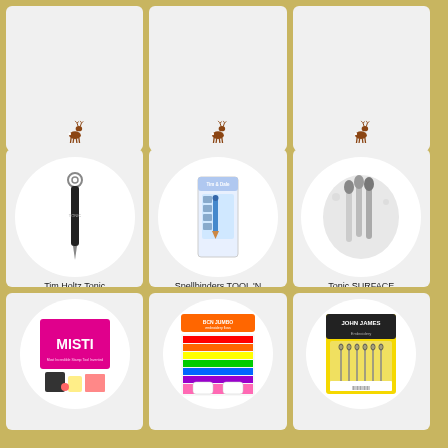[Figure (screenshot): E-commerce product grid showing craft tools and supplies. Top row (partially visible): three product cards each showing a deer logo icon. Middle row: Tim Holtz Tonic Retractable Craft Pick 372e, Spellbinders Tool 'N One, and Tonic Surface (partially cut off) — each with product image, title, 'buy from' text, and deer logo. Bottom row (partially visible): MISTI stamp tool, BCN Jumbo embroidery floss, and John James needles.]